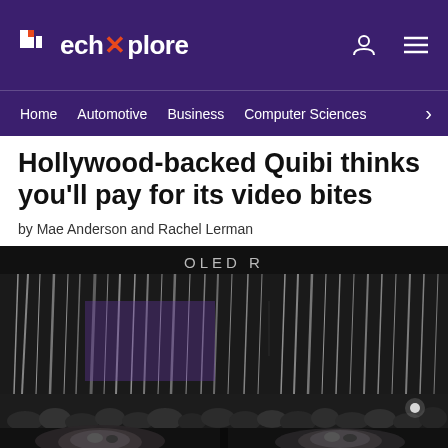TechXplore — navigation: Home, Automotive, Business, Computer Sciences
Hollywood-backed Quibi thinks you'll pay for its video bites
by Mae Anderson and Rachel Lerman
[Figure (photo): Large display screens showing abstract visual content labeled 'OLED R', with a crowd of people below, and two dramatic close-up face portraits at the bottom]